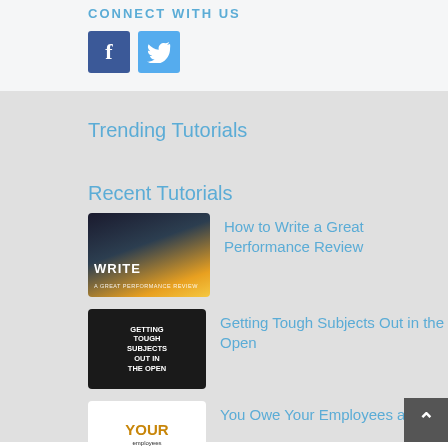CONNECT WITH US
[Figure (illustration): Facebook and Twitter social media icon buttons]
Trending Tutorials
Recent Tutorials
[Figure (photo): Thumbnail image with cityscape and golden sky, text reading WRITE]
How to Write a Great Performance Review
[Figure (photo): Dark thumbnail with text reading GETTING TOUGH SUBJECTS OUT IN THE OPEN]
Getting Tough Subjects Out in the Open
[Figure (photo): White thumbnail with orange text reading YOUR]
You Owe Your Employees an